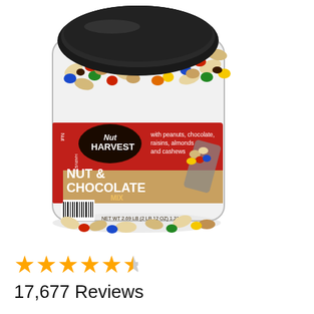[Figure (photo): A large clear plastic canister/jar of Nut Harvest Nut & Chocolate Mix with a black lid. The jar is filled with mixed nuts and colorful chocolate candies. The red label prominently shows 'Nut Harvest NUT & CHOCOLATE MIX' with text 'with peanuts, chocolate, raisins, almonds and cashews'.]
★★★★★½ 17,677 Reviews